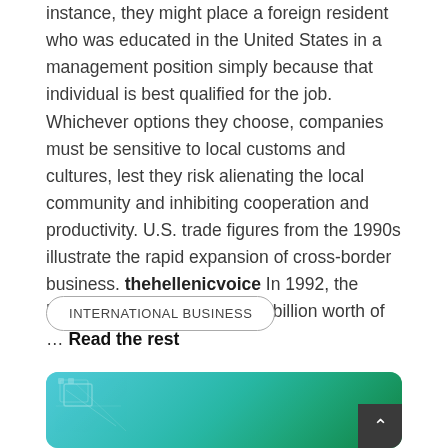instance, they might place a foreign resident who was educated in the United States in a management position simply because that individual is best qualified for the job. Whichever options they choose, companies must be sensitive to local customs and cultures, lest they risk alienating the local community and inhibiting cooperation and productivity. U.S. trade figures from the 1990s illustrate the rapid expansion of cross-border business. thehellenicvoice In 1992, the United States exported $448 billion worth of … Read the rest
INTERNATIONAL BUSINESS
[Figure (photo): A blue and green abstract image suggesting a globe or network, with geometric line overlays, partially shown at the bottom of the page.]